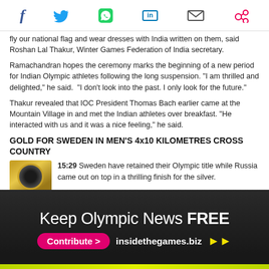Social share icons: Facebook, Twitter, WhatsApp, LinkedIn, Email, Share
fly our national flag and wear dresses with India written on them, said Roshan Lal Thakur, Winter Games Federation of India secretary.
Ramachandran hopes the ceremony marks the beginning of a new period for Indian Olympic athletes following the long suspension. "I am thrilled and delighted," he said.  "I don't look into the past. I only look for the future."
Thakur revealed that IOC President Thomas Bach earlier came at the Mountain Village in and met the Indian athletes over breakfast. "He interacted with us and it was a nice feeling," he said.
GOLD FOR SWEDEN IN MEN'S 4x10 KILOMETRES CROSS COUNTRY
15:29 Sweden have retained their Olympic title while Russia came out on top in a thrilling finish for the silver.
[Figure (photo): Gold medal thumbnail image]
Keep Olympic News FREE Contribute > insidethegames.biz